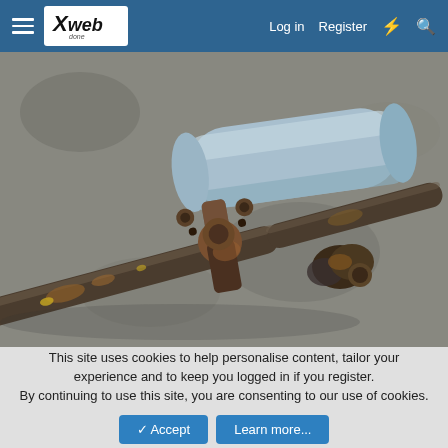Xweb — Log in | Register
[Figure (photo): Close-up photograph of a rusty automotive driveshaft/propshaft laid on concrete ground, showing a universal joint (U-joint) and a cylindrical light blue rubber or foam sleeve/boot lying behind it. The shaft and joint show significant rust and wear.]
This site uses cookies to help personalise content, tailor your experience and to keep you logged in if you register. By continuing to use this site, you are consenting to our use of cookies.
✓ Accept  Learn more...